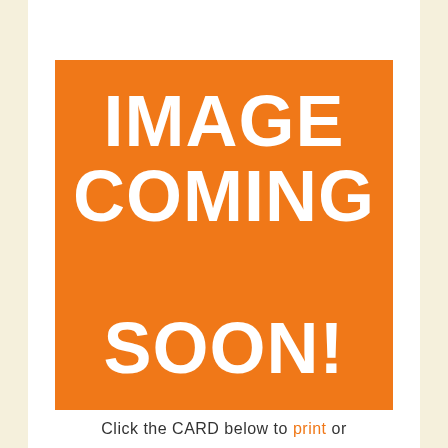[Figure (illustration): Orange square placeholder image with white bold text reading 'IMAGE COMING SOON!']
Click the CARD below to print or